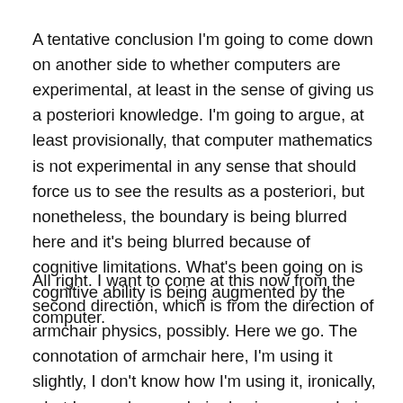A tentative conclusion I'm going to come down on another side to whether computers are experimental, at least in the sense of giving us a posteriori knowledge. I'm going to argue, at least provisionally, that computer mathematics is not experimental in any sense that should force us to see the results as a posteriori, but nonetheless, the boundary is being blurred here and it's being blurred because of cognitive limitations. What's been going on is cognitive ability is being augmented by the computer.
All right. I want to come at this now from the second direction, which is from the direction of armchair physics, possibly. Here we go. The connotation of armchair here, I'm using it slightly, I don't know how I'm using it, ironically, what I mean by armchair physics or armchair science is that you're doing armchair physics if you're not attempting